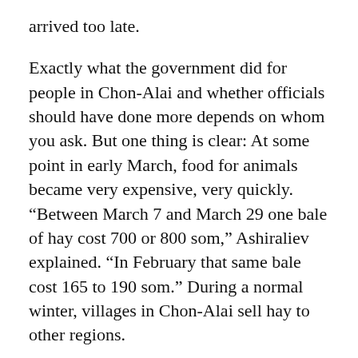arrived too late.
Exactly what the government did for people in Chon-Alai and whether officials should have done more depends on whom you ask. But one thing is clear: At some point in early March, food for animals became very expensive, very quickly. “Between March 7 and March 29 one bale of hay cost 700 or 800 som,” Ashiraliev explained. “In February that same bale cost 165 to 190 som.” During a normal winter, villages in Chon-Alai sell hay to other regions.
The akim said he has requested emergency aid from central government officials in Bishkek. “We are waiting for their response,”